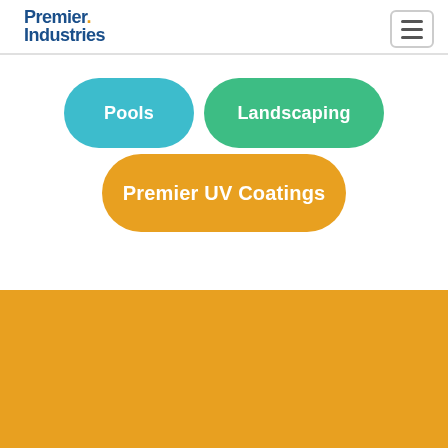[Figure (logo): Premier Industries logo with blue text and orange dot accent]
[Figure (other): Hamburger menu button (three horizontal lines) in rounded rectangle border]
Pools
Landscaping
Premier UV Coatings